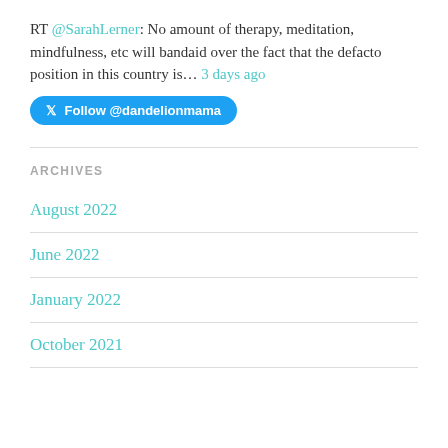RT @SarahLerner: No amount of therapy, meditation, mindfulness, etc will bandaid over the fact that the defacto position in this country is… 3 days ago
Follow @dandelionmama
ARCHIVES
August 2022
June 2022
January 2022
October 2021